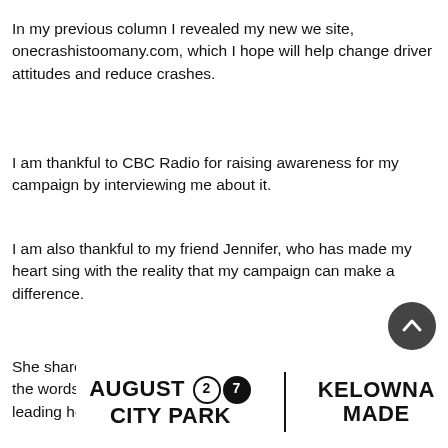In my previous column I revealed my new we site, onecrashistoomany.com, which I hope will help change driver attitudes and reduce crashes.
I am thankful to CBC Radio for raising awareness for my campaign by interviewing me about it.
I am also thankful to my friend Jennifer, who has made my heart sing with the reality that my campaign can make a difference.
She shared with me that when she was driving the other day the words “One crash is too many” ran through her head, leading her to take note of and reduce her speed.
[Figure (other): Advertisement banner: AUGUST 27 CITY PARK | KELOWNA MADE]